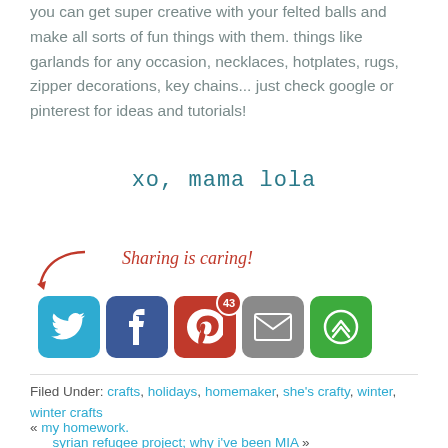you can get super creative with your felted balls and make all sorts of fun things with them. things like garlands for any occasion, necklaces, hotplates, rugs, zipper decorations, key chains... just check google or pinterest for ideas and tutorials!
xo, mama lola
[Figure (infographic): Sharing is caring! with arrow and social media icons: Twitter, Facebook (with 43 badge), Pinterest, Email, More]
Filed Under: crafts, holidays, homemaker, she's crafty, winter, winter crafts
« my homework.
syrian refugee project; why i've been MIA »